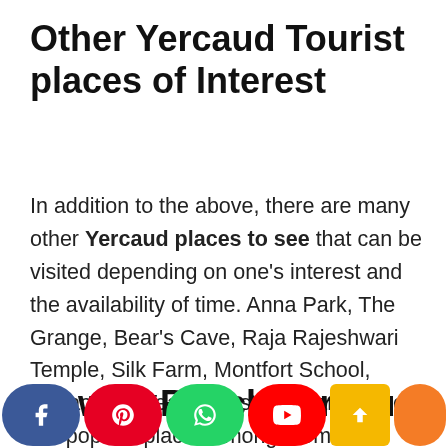Other Yercaud Tourist places of Interest
In addition to the above, there are many other Yercaud places to see that can be visited depending on one's interest and the availability of time. Anna Park, The Grange, Bear's Cave, Raja Rajeshwari Temple, Silk Farm, Montfort School, Kottachedu Teak Forest, etc., are some of the popular places among them.
How to Reach Yercaud
[Figure (infographic): Social media share buttons bar at bottom: Facebook (blue), Pinterest (red), WhatsApp (green), YouTube (red), scroll-up button (yellow), and an orange circle button.]